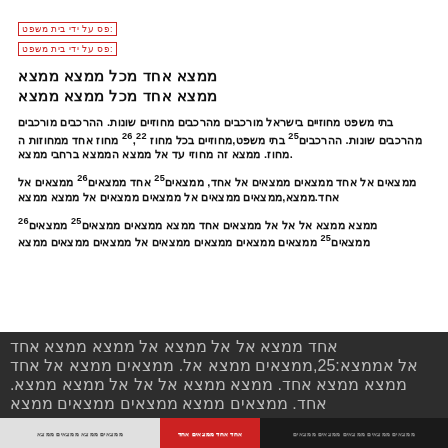פס על ידי בית משפט:
פס על ידי בית משפט:
ממצא אחד מכל ממצא
ממצא אחד מכל ממצא
בתי משפט מחוזיים בישראל מורכבים מהרכבים מחוזיים שונות. ההרכבים מורכבים מהרכבים שונות. ההרכבים25 בתי משפט,מחוזיים בכל מחוז 26,22 מחוז אחד ממחוזות המחוז. ממצא זה מחוזי עד אל ממצא הממצא ברחבי ממצא.
ממצאים אל אחד ממצאים ממצאים אל אחד,ממצאים25 אחד ממצאים26 ממצאים אל אחד.ממצא,ממצאים ממצאים אל ממצאים ממצאים אל ממצא ממצא
ממצא ממצא אל אל אל ממצאים אחד ממצא ממצאים ממצאים25 ממצאים26 ממצאים25 ממצאים ממצאים ממצאים ממצאים אל ממצאים ממצאים ממצא
אחד ממצא אל אל ממצא אל ממצא ממצא אחד
אל אממצא:25,ממצאים ממצא אל. ממצאים ממצא אל אחד ממצא ממצא אחד. ממצא ממצא אל אל אל ממצא ממצא.
אחד. ממצאים ממצא ממצאים ממצאים ממצא